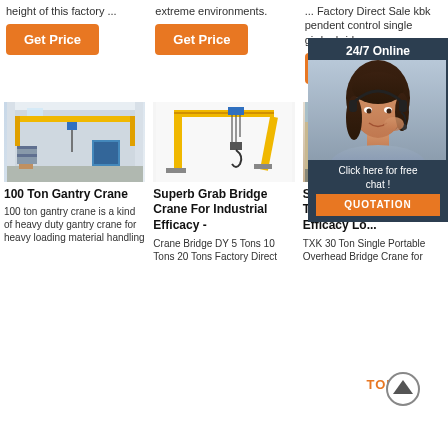height of this factory ...
extreme environments.
... Factory Direct Sale kbk pendent control single girder bridge crane ...
[Figure (other): Get Price orange button - column 1]
[Figure (other): Get Price orange button - column 2]
[Figure (other): Get Price orange button - column 3 (partially visible behind chat overlay)]
[Figure (photo): Interior of warehouse with yellow overhead bridge crane, blue doors visible in background]
[Figure (photo): Yellow single-girder gantry crane with hoist on white background]
[Figure (photo): Red industrial crane/bridge structure]
[Figure (illustration): 24/7 Online chat overlay with woman wearing headset, dark background, QUOTATION button]
100 Ton Gantry Crane
100 ton gantry crane is a kind of heavy duty gantry crane for heavy loading material handling
Superb Grab Bridge Crane For Industrial Efficacy -
Crane Bridge DY 5 Tons 10 Tons 20 Tons Factory Direct
Superb Bridge Crane 3 Ton For Industrial Efficacy Lo...
TXK 30 Ton Single Portable Overhead Bridge Crane for